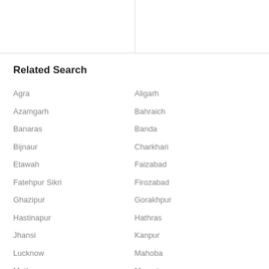Related Search
Agra
Aligarh
Azamgarh
Bahraich
Banaras
Banda
Bijnaur
Charkhari
Etawah
Faizabad
Fatehpur Sikri
Firozabad
Ghazipur
Gorakhpur
Hastinapur
Hathras
Jhansi
Kanpur
Lucknow
Mahoba
Mathura
Meerut